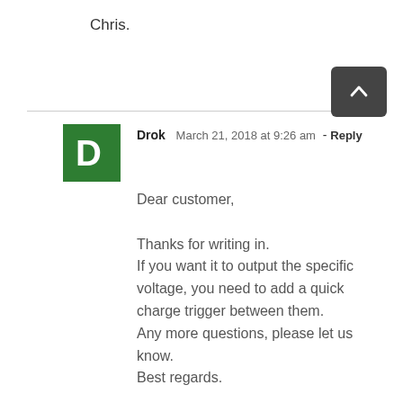Chris.
Drok  March 21, 2018 at 9:26 am - Reply

Dear customer,

Thanks for writing in.
If you want it to output the specific voltage, you need to add a quick charge trigger between them.
Any more questions, please let us know.
Best regards.